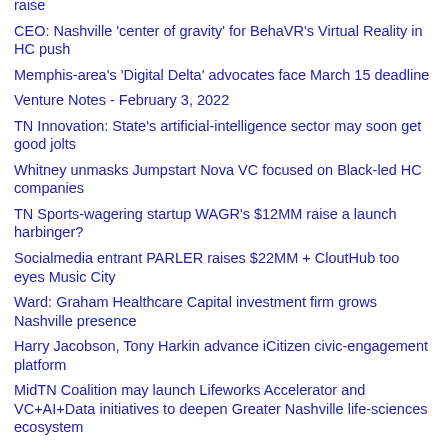raise
CEO: Nashville 'center of gravity' for BehaVR's Virtual Reality in HC push
Memphis-area's 'Digital Delta' advocates face March 15 deadline
Venture Notes - February 3, 2022
TN Innovation: State's artificial-intelligence sector may soon get good jolts
Whitney unmasks Jumpstart Nova VC focused on Black-led HC companies
TN Sports-wagering startup WAGR's $12MM raise a launch harbinger?
Socialmedia entrant PARLER raises $22MM + CloutHub too eyes Music City
Ward: Graham Healthcare Capital investment firm grows Nashville presence
Harry Jacobson, Tony Harkin advance iCitizen civic-engagement platform
MidTN Coalition may launch Lifeworks Accelerator and VC+AI+Data initiatives to deepen Greater Nashville life-sciences ecosystem